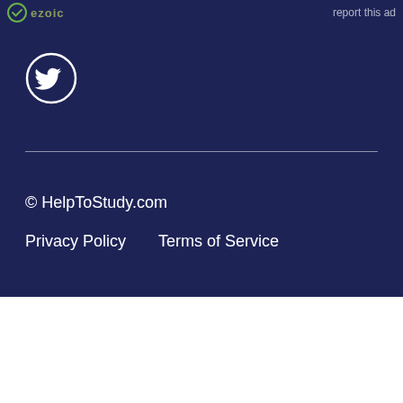[Figure (logo): Ezoic logo with circular green checkmark icon and 'ezoic' text in olive/green color]
report this ad
[Figure (logo): Twitter bird icon inside a white circle outline]
© HelpToStudy.com
Privacy Policy     Terms of Service